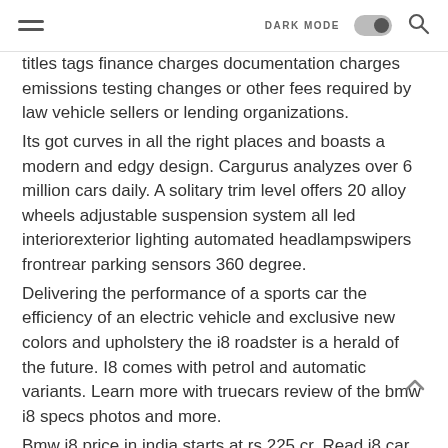DARK MODE [toggle]
titles tags finance charges documentation charges emissions testing changes or other fees required by law vehicle sellers or lending organizations.
Its got curves in all the right places and boasts a modern and edgy design. Cargurus analyzes over 6 million cars daily. A solitary trim level offers 20 alloy wheels adjustable suspension system all led interiorexterior lighting automated headlampswipers frontrear parking sensors 360 degree.
Delivering the performance of a sports car the efficiency of an electric vehicle and exclusive new colors and upholstery the i8 roadster is a herald of the future. I8 comes with petrol and automatic variants. Learn more with truecars review of the bmw i8 specs photos and more.
Bmw i8 price in india starts at rs 225 cr. Read i8 car review from experts view mileage images interiors